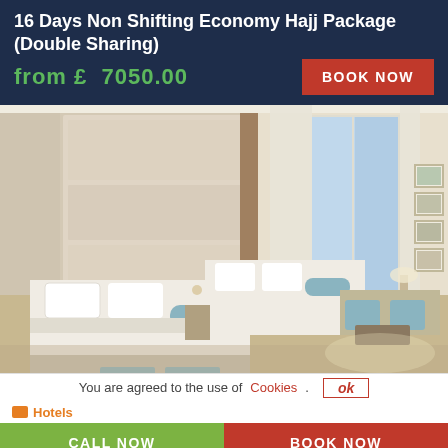16 Days Non Shifting Economy Hajj Package (Double Sharing)
from £  7050.00
BOOK NOW
[Figure (photo): Luxury hotel room with two double beds, padded cream headboard wall, sitting area with blue accent chairs, large windows with curtains, framed artwork on wall]
You are agreed to the use of Cookies.
ok
Hotels
CALL NOW
BOOK NOW